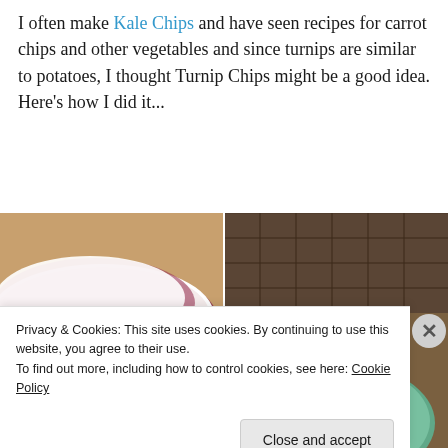I often make Kale Chips and have seen recipes for carrot chips and other vegetables and since turnips are similar to potatoes, I thought Turnip Chips might be a good idea. Here's how I did it...
[Figure (photo): Two side-by-side food photos: left shows raw sliced turnips with purple-white cross-sections fanned out on a cutting board; right shows baked turnip chips piled on a teal plate.]
Privacy & Cookies: This site uses cookies. By continuing to use this website, you agree to their use.
To find out more, including how to control cookies, see here: Cookie Policy